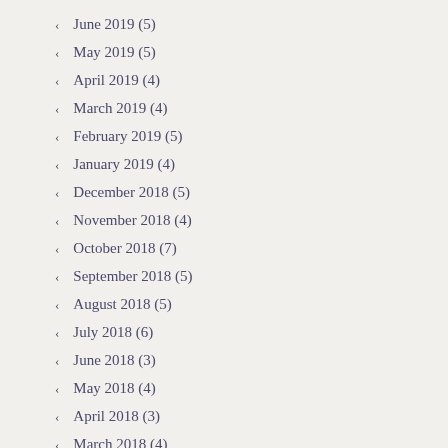June 2019 (5)
May 2019 (5)
April 2019 (4)
March 2019 (4)
February 2019 (5)
January 2019 (4)
December 2018 (5)
November 2018 (4)
October 2018 (7)
September 2018 (5)
August 2018 (5)
July 2018 (6)
June 2018 (3)
May 2018 (4)
April 2018 (3)
March 2018 (4)
February 2018 (5)
January 2018 (6)